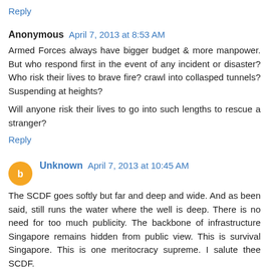Reply
Anonymous April 7, 2013 at 8:53 AM
Armed Forces always have bigger budget & more manpower. But who respond first in the event of any incident or disaster? Who risk their lives to brave fire? crawl into collasped tunnels? Suspending at heights?
Will anyone risk their lives to go into such lengths to rescue a stranger?
Reply
Unknown April 7, 2013 at 10:45 AM
The SCDF goes softly but far and deep and wide. And as been said, still runs the water where the well is deep. There is no need for too much publicity. The backbone of infrastructure Singapore remains hidden from public view. This is survival Singapore. This is one meritocracy supreme. I salute thee SCDF.